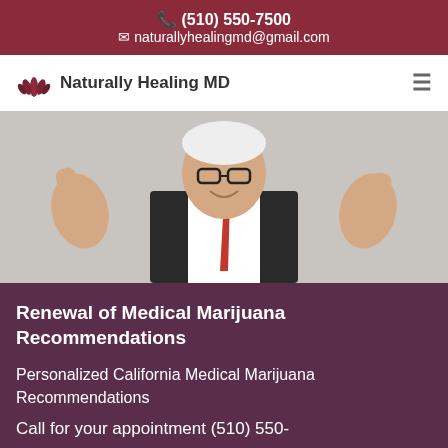(510) 550-7500
naturallyhealingmd@gmail.com
Naturally Healing MD
[Figure (photo): Elderly man in a dark suit and red tie, smiling and giving two thumbs up, on a white background.]
Renewal of Medical Marijuana Recommendations
Personalized California Medical Marijuana Recommendations
Call for your appointment (510) 550-